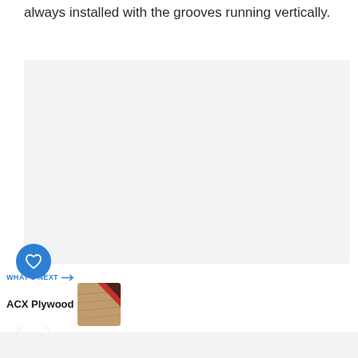always installed with the grooves running vertically.
[Figure (other): Light gray rectangular placeholder image area]
[Figure (illustration): Blue circle with white heart icon (like button)]
9
[Figure (illustration): White circle with share/add icon]
WHAT'S NEXT → ACX Plywood
[Figure (photo): Thumbnail image of ACX Plywood showing wood grain texture with red diagonal stripe]